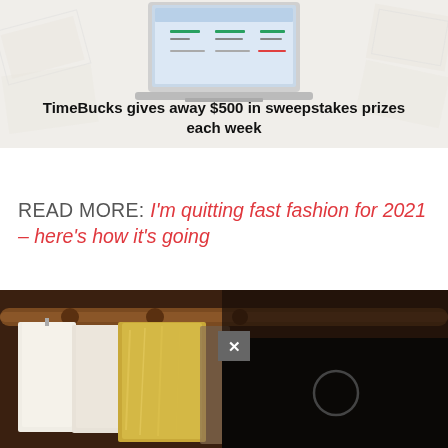[Figure (screenshot): Advertisement banner for TimeBucks showing a laptop with dashboard and money bills in the background]
TimeBucks gives away $500 in sweepstakes prizes each week
READ MORE: I'm quitting fast fashion for 2021 – here's how it's going
[Figure (photo): Photo of clothes hanging on a rack including white shirts and a shiny/metallic garment, with a video overlay pop-up on the right side showing a dark loading screen with a circle and an X close button]